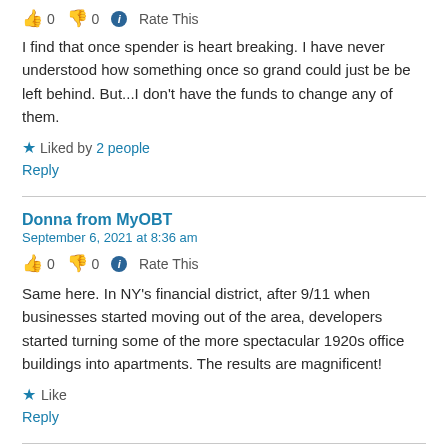👍 0 👎 0 ℹ Rate This
I find that once spender is heart breaking. I have never understood how something once so grand could just be be left behind. But...I don't have the funds to change any of them.
★ Liked by 2 people
Reply
Donna from MyOBT
September 6, 2021 at 8:36 am
👍 0 👎 0 ℹ Rate This
Same here. In NY's financial district, after 9/11 when businesses started moving out of the area, developers started turning some of the more spectacular 1920s office buildings into apartments. The results are magnificent!
★ Like
Reply